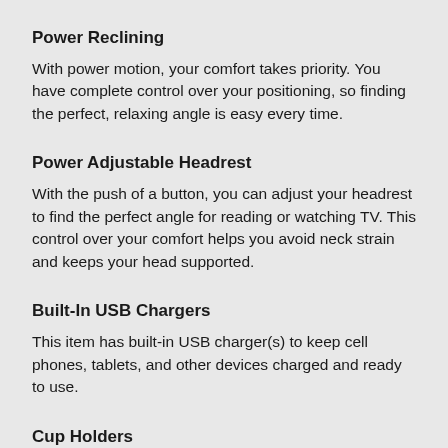Power Reclining
With power motion, your comfort takes priority. You have complete control over your positioning, so finding the perfect, relaxing angle is easy every time.
Power Adjustable Headrest
With the push of a button, you can adjust your headrest to find the perfect angle for reading or watching TV. This control over your comfort helps you avoid neck strain and keeps your head supported.
Built-In USB Chargers
This item has built-in USB charger(s) to keep cell phones, tablets, and other devices charged and ready to use.
Cup Holders